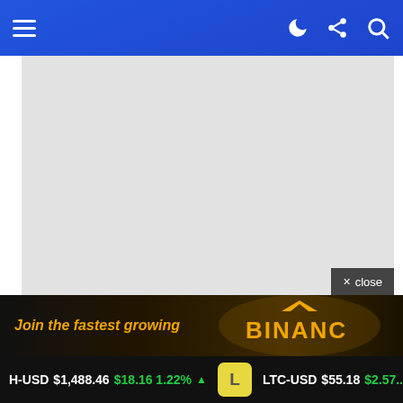Navigation bar with hamburger menu, dark mode, share, and search icons
[Figure (screenshot): Gray placeholder content area below navigation bar]
× close
[Figure (infographic): Binance advertisement banner: 'Join the fastest growing' with Binance logo]
ETH-USD $1,488.46 $18.16 1.22% ▲  LTC-USD $55.18 $2.57...